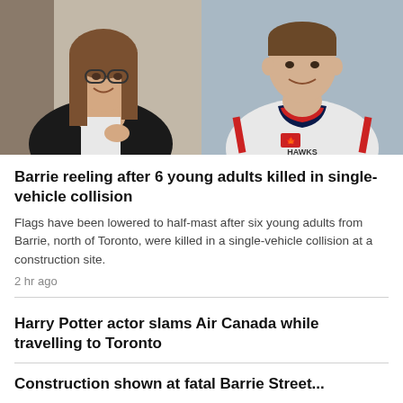[Figure (photo): Two photos side by side: left shows a young woman with glasses smiling, wearing a black cardigan; right shows a young man smiling, wearing a white hockey jersey with a Canadian flag patch]
Barrie reeling after 6 young adults killed in single-vehicle collision
Flags have been lowered to half-mast after six young adults from Barrie, north of Toronto, were killed in a single-vehicle collision at a construction site.
2 hr ago
Harry Potter actor slams Air Canada while travelling to Toronto
Construction shown at fatal Barrie Street...